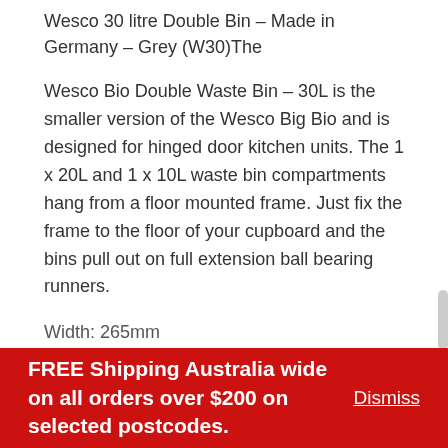Wesco 30 litre Double Bin – Made in Germany – Grey (W30)The
Wesco Bio Double Waste Bin – 30L is the smaller version of the Wesco Big Bio and is designed for hinged door kitchen units. The 1 x 20L and 1 x 10L waste bin compartments hang from a floor mounted frame. Just fix the frame to the floor of your cupboard and the bins pull out on full extension ball bearing runners.
Width: 265mm
Height: 392mm (to lid) 410mm (handle)
FREE Shipping Australia wide on all orders over $200 on selected postcodes. Dismiss